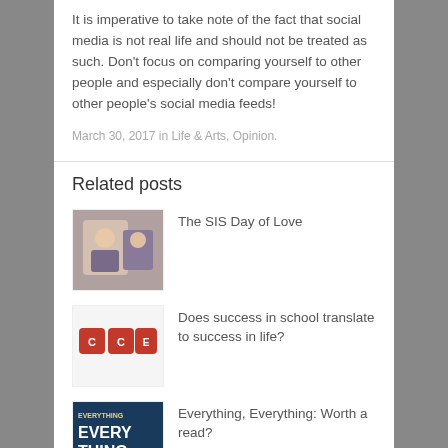It is imperative to take note of the fact that social media is not real life and should not be treated as such. Don't focus on comparing yourself to other people and especially don't compare yourself to other people's social media feeds!
March 30, 2017 in Life & Arts, Opinion.
Related posts
The SIS Day of Love
Does success in school translate to success in life?
Everything, Everything: Worth a read?